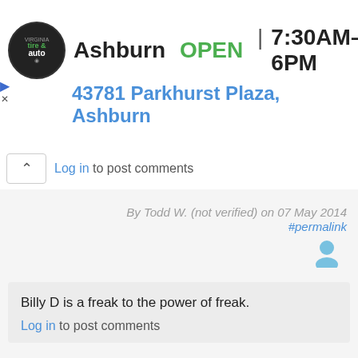[Figure (infographic): Advertisement banner for Virginia Tire & Auto. Shows logo (circular), business name 'Ashburn', status 'OPEN', hours '7:30AM–6PM', navigation icon, and address '43781 Parkhurst Plaza, Ashburn']
Log in to post comments
By Todd W. (not verified) on 07 May 2014 #permalink
Billy D is a freak to the power of freak.
Log in to post comments
By Chris Hickie (not verified) on 07 May 2014 #permalink